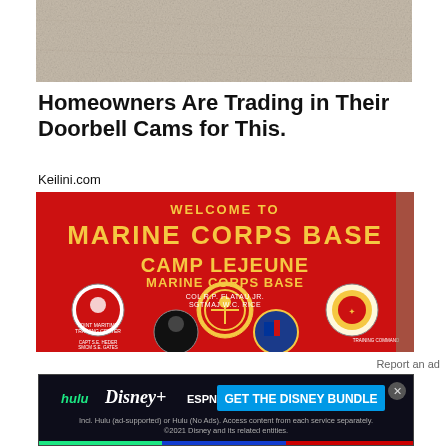[Figure (photo): Close-up photo of a granite or stone countertop surface, beige/gray tones]
Homeowners Are Trading in Their Doorbell Cams for This.
Keilini.com
[Figure (photo): Photo of a red Marine Corps Base Camp Lejeune welcome sign with unit emblems and text: MARINE CORPS BASE, CAMP LEJEUNE, COL R.P. FLATAU JR, SGTMAJ W.C. RICE]
Report an ad
[Figure (photo): Disney Bundle advertisement banner showing Hulu, Disney+, and ESPN+ logos with 'GET THE DISNEY BUNDLE' call to action. Fine print: Incl. Hulu (ad-supported) or Hulu (No Ads). Access content from each service separately. ©2021 Disney and its related entities.]